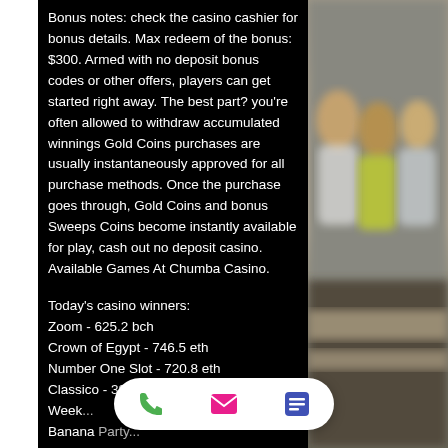Bonus notes: check the casino cashier for bonus details. Max redeem of the bonus: $300. Armed with no deposit bonus codes or other offers, players can get started right away. The best part? you're often allowed to withdraw accumulated winnings Gold Coins purchases are usually instantaneously approved for all purchase methods. Once the purchase goes through, Gold Coins and bonus Sweeps Coins become instantly available for play, cash out no deposit casino. Available Games At Chumba Casino.
Today's casino winners: Zoom - 625.2 bch Crown of Egypt - 746.5 eth Number One Slot - 720.8 eth Classico - 389.3 btc Weekly... Banana Party - ...
[Figure (photo): A photo of people in the background, partially visible on the right side of the screen. Blurred/out of focus image.]
[Figure (infographic): A white pill-shaped bottom action bar with three icons: a green phone icon, a pink/magenta email envelope icon, and a blue list/menu icon.]